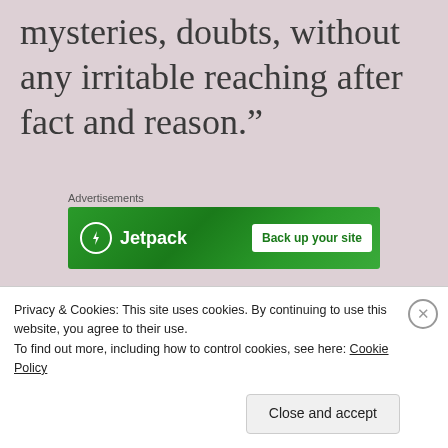mysteries, doubts, without any irritable reaching after fact and reason.”
[Figure (other): Jetpack advertisement banner with green background, Jetpack logo and lightning bolt icon on left, 'Back up your site' button on right]
Turn that “man” into “poet” or “writer” or “artist,” or “scientist” or “philosopher,” for that matter, and you’ve
Privacy & Cookies: This site uses cookies. By continuing to use this website, you agree to their use.
To find out more, including how to control cookies, see here: Cookie Policy
Close and accept